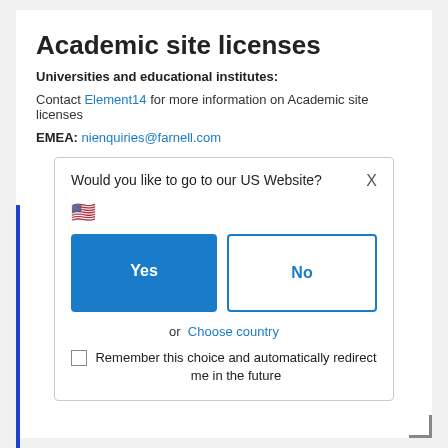Academic site licenses
Universities and educational institutes:
Contact Element14 for more information on Academic site licenses
EMEA: nienquiries@farnell.com
[Figure (screenshot): Modal dialog asking 'Would you like to go to our US Website?' with a US flag emoji, Yes (blue) and No (outlined) buttons, an 'or Choose country' link, and a 'Remember this choice and automatically redirect me in the future' checkbox.]